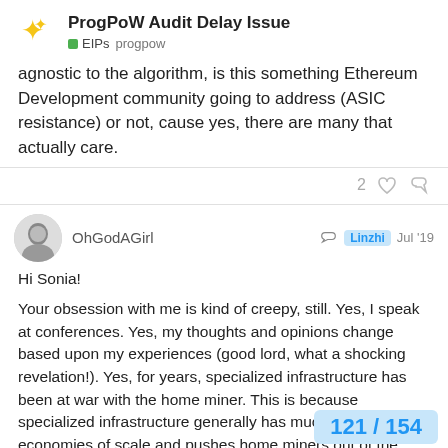ProgPoW Audit Delay Issue | EIPs progpow
agnostic to the algorithm, is this something Ethereum Development community going to address (ASIC resistance) or not, cause yes, there are many that actually care.
2 ♡ 🔗
OhGodAGirl ↩ Linzhi Jul '19
Hi Sonia!
Your obsession with me is kind of creepy, still. Yes, I speak at conferences. Yes, my thoughts and opinions change based upon my experiences (good lord, what a shocking revelation!). Yes, for years, specialized infrastructure has been at war with the home miner. This is because specialized infrastructure generally has much larger economies of scale and pushes home miners out of the space. This is why providers will slowly become service provid
121 / 154